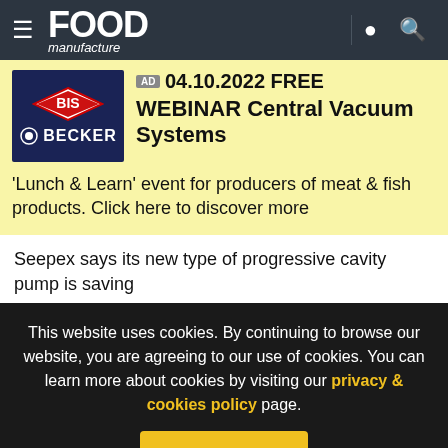FOOD manufacture
[Figure (logo): BIS Becker logo — white text on navy blue background with red diamond BIS mark and Becker wordmark]
AD 04.10.2022 FREE WEBINAR Central Vacuum Systems
'Lunch & Learn' event for producers of meat & fish products. Click here to discover more
Seepex says its new type of progressive cavity pump is saving
This website uses cookies. By continuing to browse our website, you are agreeing to our use of cookies. You can learn more about cookies by visiting our privacy & cookies policy page.
I Agree